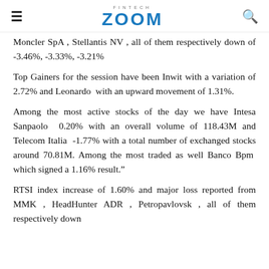FINTECH ZOOM
Moncler SpA , Stellantis NV , all of them respectively down of -3.46%, -3.33%, -3.21%
Top Gainers for the session have been Inwit with a variation of 2.72% and Leonardo  with an upward movement of 1.31%.
Among the most active stocks of the day we have Intesa Sanpaolo  0.20% with an overall volume of 118.43M and Telecom Italia  -1.77% with a total number of exchanged stocks around 70.81M. Among the most traded as well Banco Bpm  which signed a 1.16% result.”
RTSI index increase of 1.60% and major loss reported from MMK , HeadHunter ADR , Petropavlovsk , all of them respectively down